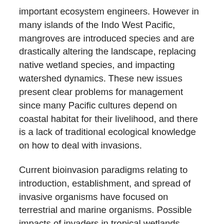important ecosystem engineers. However in many islands of the Indo West Pacific, mangroves are introduced species and are drastically altering the landscape, replacing native wetland species, and impacting watershed dynamics. These new issues present clear problems for management since many Pacific cultures depend on coastal habitat for their livelihood, and there is a lack of traditional ecological knowledge on how to deal with invasions.
Current bioinvasion paradigms relating to introduction, establishment, and spread of invasive organisms have focused on terrestrial and marine organisms. Possible impacts of invaders in tropical wetlands remain poorly understood with even fewer field experiments. There is remarkably little research on mangroves in the Indo West Pacific region where they are invasive, leaving a large gap in our understanding of wetland invasions and a large